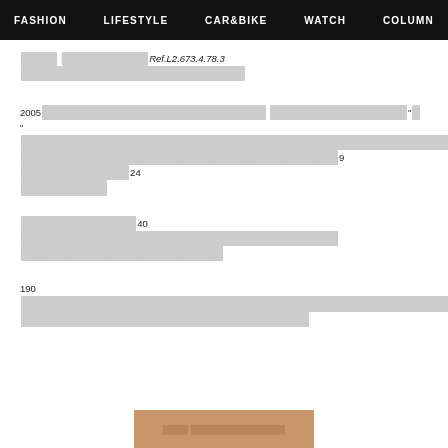FASHION   LIFESTYLE   CAR&BIKE   WATCH   COLUMN
[Japanese text] Ref.L2.673.4.78.3 [Japanese text] 40[Japanese]SS[Japanese] 44[Japanese]
2005[Japanese text] “[Japanese]”[Japanese text] 9[Japanese] 24[Japanese]
[Japanese text]40[Japanese text]
190[Japanese text]
[Figure (other): Brown/tan colored bar at the bottom center with white text]